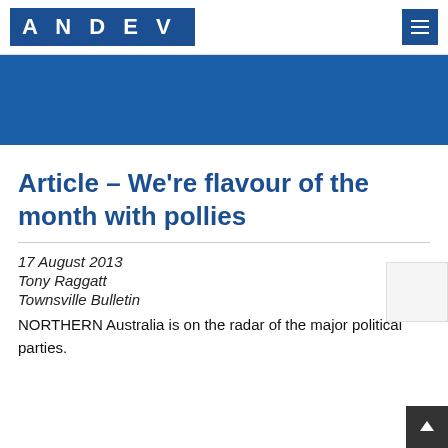ANDEV
[Figure (other): Blue banner / hero image area]
Article – We're flavour of the month with pollies
17 August 2013
Tony Raggatt
Townsville Bulletin
NORTHERN Australia is on the radar of the major political parties.